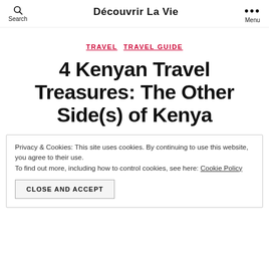Découvrir La Vie
TRAVEL   TRAVEL GUIDE
4 Kenyan Travel Treasures: The Other Side(s) of Kenya
Privacy & Cookies: This site uses cookies. By continuing to use this website, you agree to their use. To find out more, including how to control cookies, see here: Cookie Policy
CLOSE AND ACCEPT